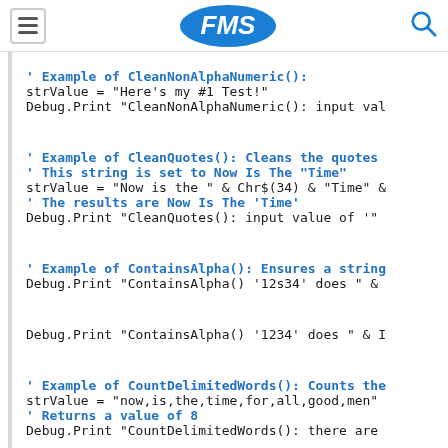FMS (logo with menu and search icons)
[Figure (screenshot): Code block showing VBA/Basic examples of CleanNonAlphaNumeric(), CleanQuotes(), ContainsAlpha(), CountDelimitedWords(), CountOccurrences() functions with comments and Debug.Print statements in green and black monospace font]